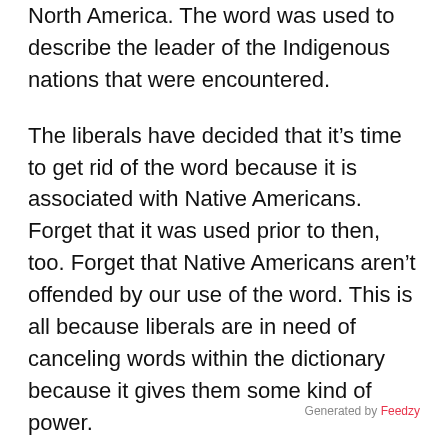North America. The word was used to describe the leader of the Indigenous nations that were encountered.
The liberals have decided that it’s time to get rid of the word because it is associated with Native Americans. Forget that it was used prior to then, too. Forget that Native Americans aren’t offended by our use of the word. This is all because liberals are in need of canceling words within the dictionary because it gives them some kind of power.
San Francisco is the first to begin canceling the word – and the school district is making the
Generated by Feedzy